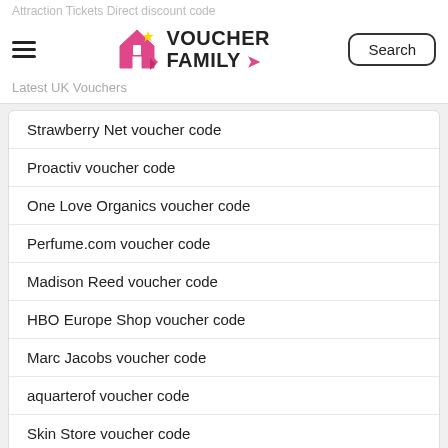Attraction Tickets Direct discount code
Voucher Family – Latest UK Vouchers – Search
Strawberry Net voucher code
Proactiv voucher code
One Love Organics voucher code
Perfume.com voucher code
Madison Reed voucher code
HBO Europe Shop voucher code
Marc Jacobs voucher code
aquarterof voucher code
Skin Store voucher code
Cadbury Gifts Direct voucher code
Hot UK Stores
eHarmony discount code